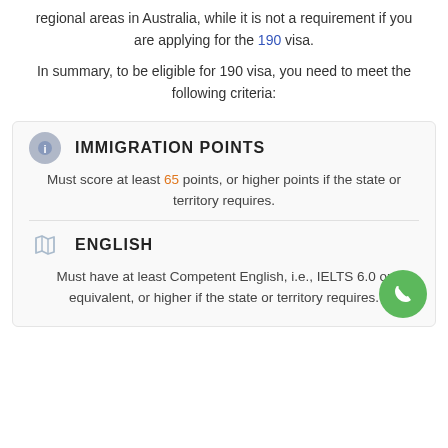regional areas in Australia, while it is not a requirement if you are applying for the 190 visa.
In summary, to be eligible for 190 visa, you need to meet the following criteria:
IMMIGRATION POINTS
Must score at least 65 points, or higher points if the state or territory requires.
ENGLISH
Must have at least Competent English, i.e., IELTS 6.0 or equivalent, or higher if the state or territory requires.